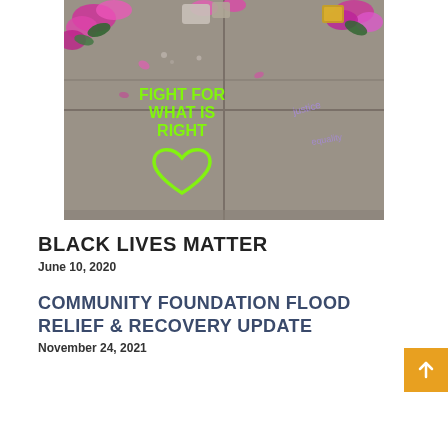[Figure (photo): Sidewalk with chalk writing 'FIGHT FOR WHAT IS RIGHT' and a chalk heart outline, surrounded by flowers and floral tributes at a memorial.]
BLACK LIVES MATTER
June 10, 2020
COMMUNITY FOUNDATION FLOOD RELIEF & RECOVERY UPDATE
November 24, 2021